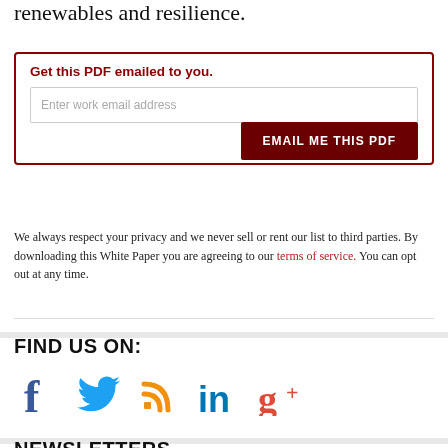renewables and resilience.
Get this PDF emailed to you.
Enter work email address
EMAIL ME THIS PDF
We always respect your privacy and we never sell or rent our list to third parties. By downloading this White Paper you are agreeing to our terms of service. You can opt out at any time.
FIND US ON:
[Figure (infographic): Social media icons: Facebook (blue f), Twitter (blue bird), RSS (orange feed icon), LinkedIn (blue in), Google+ (red g+)]
NEWSLETTERS